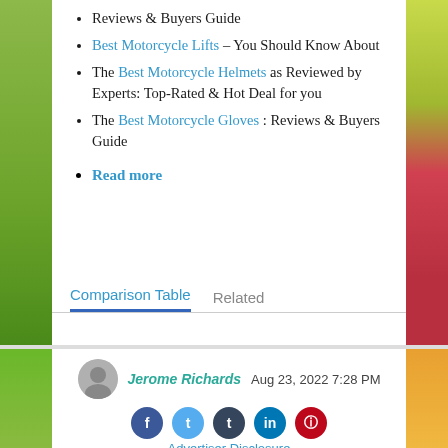Reviews & Buyers Guide
Best Motorcycle Lifts – You Should Know About
The Best Motorcycle Helmets as Reviewed by Experts: Top-Rated & Hot Deal for you
The Best Motorcycle Gloves : Reviews & Buyers Guide
Read more
Comparison Table  Related
Jerome Richards  Aug 23, 2022 7:28 PM
Advertiser Disclosure